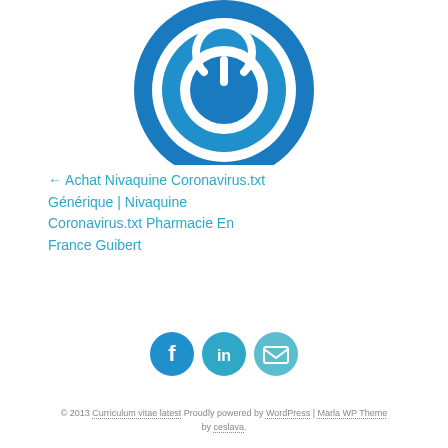[Figure (logo): Blue circular logo with power button icon and concentric rings]
← Achat Nivaquine Coronavirus.txt Générique | Nivaquine Coronavirus.txt Pharmacie En France Guibert
[Figure (illustration): Social media icons: Facebook, LinkedIn, and Email/envelope in teal/blue circles]
© 2013 Curriculum vitae latest Proudly powered by WordPress | Marla WP Theme by ceslava.